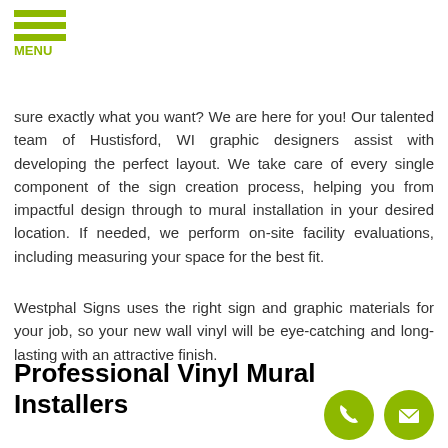[Figure (logo): Green hamburger menu icon with three horizontal bars and MENU label in green]
sure exactly what you want? We are here for you! Our talented team of Hustisford, WI graphic designers assist with developing the perfect layout. We take care of every single component of the sign creation process, helping you from impactful design through to mural installation in your desired location. If needed, we perform on-site facility evaluations, including measuring your space for the best fit.
Westphal Signs uses the right sign and graphic materials for your job, so your new wall vinyl will be eye-catching and long-lasting with an attractive finish.
Professional Vinyl Mural Installers
[Figure (illustration): Two green circular icon buttons - a phone handset icon and an envelope/email icon]